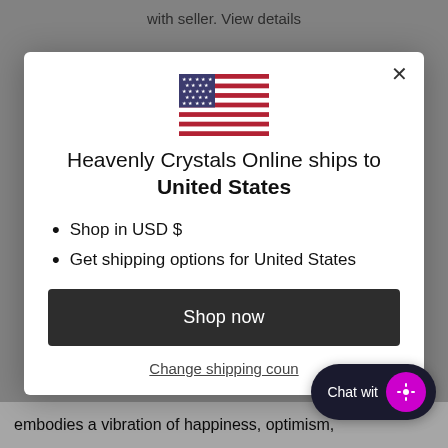with seller. View details
[Figure (illustration): US flag emoji/icon displayed centered in modal]
Heavenly Crystals Online ships to United States
Shop in USD $
Get shipping options for United States
Shop now
Change shipping coun...
Chat wit...
embodies a vibration of happiness, optimism,